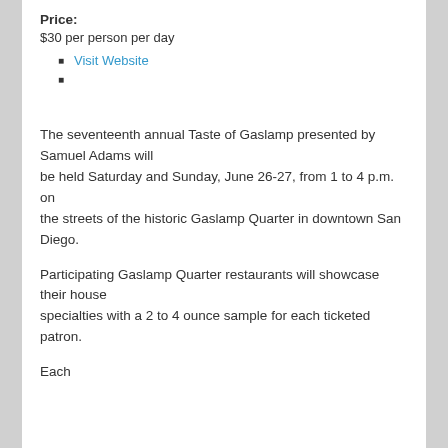Price:
$30 per person per day
Visit Website
The seventeenth annual Taste of Gaslamp presented by Samuel Adams will be held Saturday and Sunday, June 26-27, from 1 to 4 p.m. on the streets of the historic Gaslamp Quarter in downtown San Diego.
Participating Gaslamp Quarter restaurants will showcase their house specialties with a 2 to 4 ounce sample for each ticketed patron.
Each